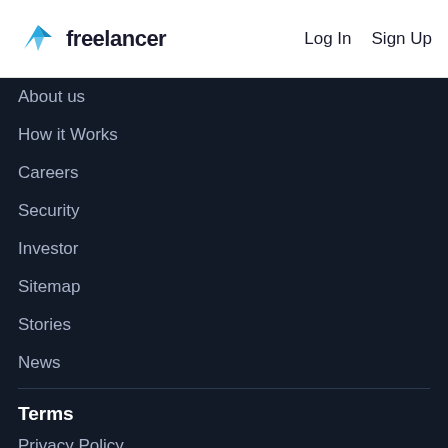freelancer  Log In  Sign Up
About us
How it Works
Careers
Security
Investor
Sitemap
Stories
News
Terms
Privacy Policy
Terms and Conditions
Copyright Policy
Code of Conduct
Fees and Charges